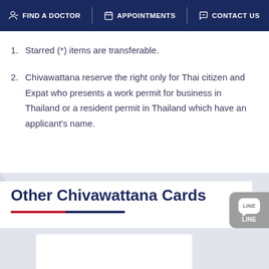FIND A DOCTOR | APPOINTMENTS | CONTACT US
1. Starred (*) items are transferable.
2. Chivawattana reserve the right only for Thai citizen and Expat who presents a work permit for business in Thailand or a resident permit in Thailand which have an applicant's name.
Other Chivawattana Cards